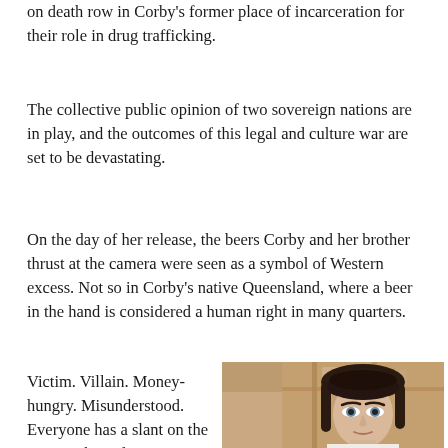on death row in Corby's former place of incarceration for their role in drug trafficking.
The collective public opinion of two sovereign nations are in play, and the outcomes of this legal and culture war are set to be devastating.
On the day of her release, the beers Corby and her brother thrust at the camera were seen as a symbol of Western excess. Not so in Corby's native Queensland, where a beer in the hand is considered a human right in many quarters.
Victim. Villain. Money-hungry. Misunderstood. Everyone has a slant on the woman the Indonesian media dubbed 'The
[Figure (photo): Portrait photograph of a dark-haired woman with blue eyes looking upward slightly, seated in what appears to be a courtroom with wooden panelling visible in the background. The woman appears to be Schapelle Corby.]